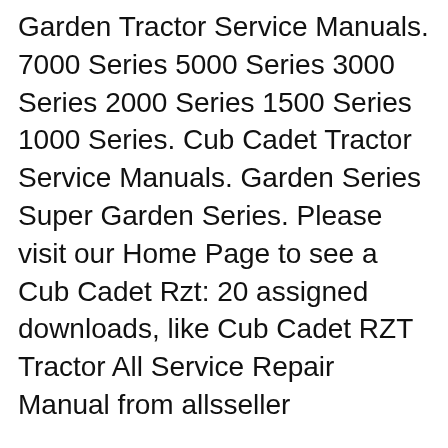Garden Tractor Service Manuals. 7000 Series 5000 Series 3000 Series 2000 Series 1500 Series 1000 Series. Cub Cadet Tractor Service Manuals. Garden Series Super Garden Series. Please visit our Home Page to see a Cub Cadet Rzt: 20 assigned downloads, like Cub Cadet RZT Tractor All Service Repair Manual from allsseller
Cub Cadet Rzt Repair Manual: 20 assigned downloads, like Cub Cadet RZT Zero Turn Rider Mower Complete Workshop Service Repair Manual 2004 2005 2006 2007 2008 2009 View and Download Cub Cadet FMZ50 operator's manual online. Front Mount Zero Turn Riding Mower. With 50" Mower Deck